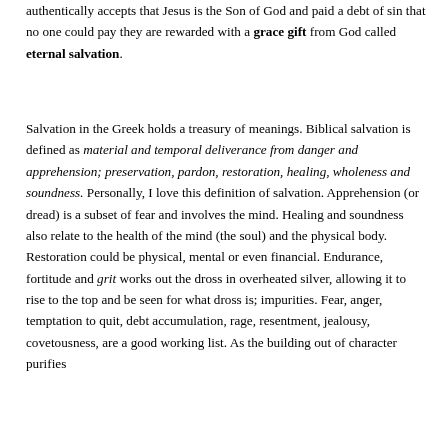authentically accepts that Jesus is the Son of God and paid a debt of sin that no one could pay they are rewarded with a grace gift from God called eternal salvation.
Salvation in the Greek holds a treasury of meanings. Biblical salvation is defined as material and temporal deliverance from danger and apprehension; preservation, pardon, restoration, healing, wholeness and soundness. Personally, I love this definition of salvation. Apprehension (or dread) is a subset of fear and involves the mind. Healing and soundness also relate to the health of the mind (the soul) and the physical body. Restoration could be physical, mental or even financial. Endurance, fortitude and grit works out the dross in overheated silver, allowing it to rise to the top and be seen for what dross is; impurities. Fear, anger, temptation to quit, debt accumulation, rage, resentment, jealousy, covetousness, are a good working list. As the building out of character purifies